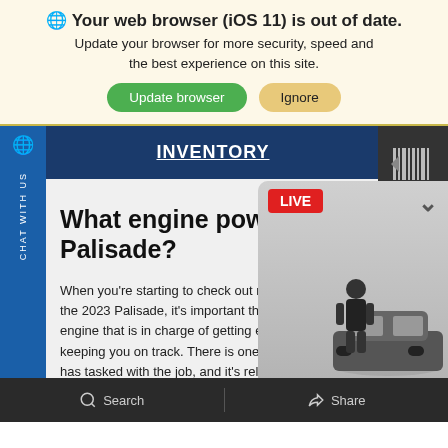Your web browser (iOS 11) is out of date.
Update your browser for more security, speed and the best experience on this site.
Update browser | Ignore
INVENTORY
What engine powers the 2023 Palisade?
When you're starting to check out more of the specifics of the 2023 Palisade, it's important that you understand the engine that is in charge of getting everything moving and keeping you on track. There is one single engine that has tasked with the job, and it's reliable and tough enough to keep up with your life. You'll be able to choose be
[Figure (screenshot): Live video widget showing a person standing next to a Hyundai Palisade with LIVE badge]
Search | Share